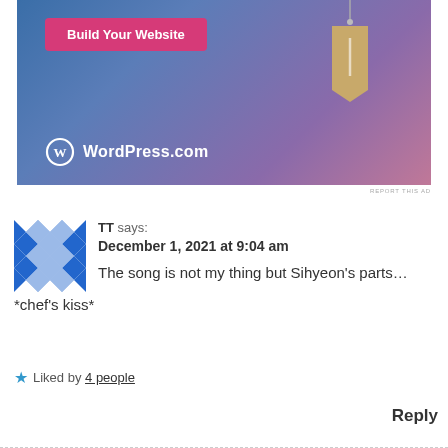[Figure (illustration): WordPress.com advertisement banner with blue-to-pink gradient background, a pink 'Build Your Website' button, a hanging wooden price tag graphic, and the WordPress.com logo at the bottom left.]
REPORT THIS AD
TT says:
December 1, 2021 at 9:04 am
The song is not my thing but Sihyeon's parts… *chef's kiss*
Liked by 4 people
Reply